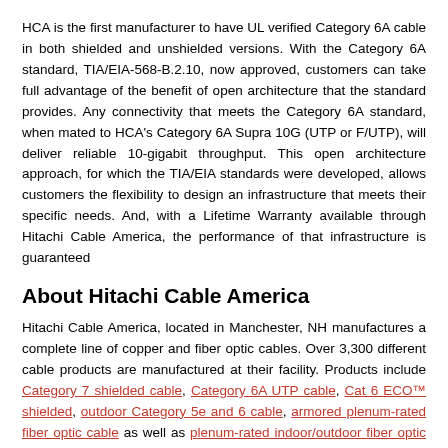HCA is the first manufacturer to have UL verified Category 6A cable in both shielded and unshielded versions. With the Category 6A standard, TIA/EIA-568-B.2.10, now approved, customers can take full advantage of the benefit of open architecture that the standard provides. Any connectivity that meets the Category 6A standard, when mated to HCA's Category 6A Supra 10G (UTP or F/UTP), will deliver reliable 10-gigabit throughput. This open architecture approach, for which the TIA/EIA standards were developed, allows customers the flexibility to design an infrastructure that meets their specific needs. And, with a Lifetime Warranty available through Hitachi Cable America, the performance of that infrastructure is guaranteed
About Hitachi Cable America
Hitachi Cable America, located in Manchester, NH manufactures a complete line of copper and fiber optic cables. Over 3,300 different cable products are manufactured at their facility. Products include Category 7 shielded cable, Category 6A UTP cable, Cat 6 ECO™ shielded, outdoor Category 5e and 6 cable, armored plenum-rated fiber optic cable as well as plenum-rated indoor/outdoor fiber optic cables.